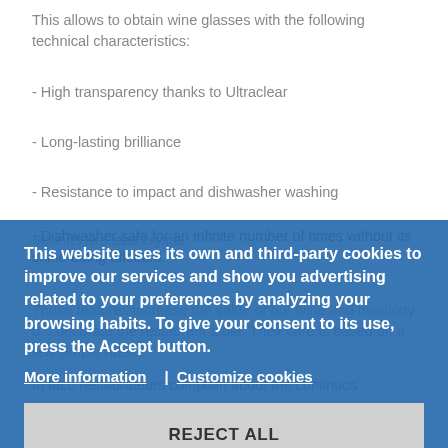This allows to obtain wine glasses with the following technical characteristics:
- High transparency thanks to Ultraclear
- Long-lasting brilliance
- Resistance to impact and dishwasher washing
- Dishwasher safe for an infinite number of times without its shine being affected
Sounds like lead crystal
These features increase the value of our wine and mixology b... decorate the restaurant table. Their care is based on a few simple rules
In fact, restaurateurs complain about the continuos
This website uses its own and third-party cookies to improve our services and show you advertising related to your preferences by analyzing your browsing habits. To give your consent to its use, press the Accept button.
More information
Customize cookies
REJECT ALL
I ACCEPT